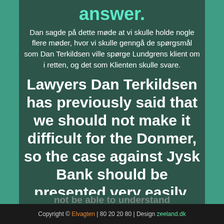answer.
Dan sagde på dette møde at vi skulle holde nogle flere møder, hvor vi skulle genngå de spørgsmål som Dan Terkildsen ville spørge Lundgrens klient om i retten, og det som Klienten skulle svare.
Lawyers Dan Terkildsen has previously said that we should not make it difficult for the Donmer, so the case against Jysk Bank should be presented very easily, otherwise the judge would not be able to understand
Copyright © Elvagten | 80 20 20 80 | Design zeeland.dk